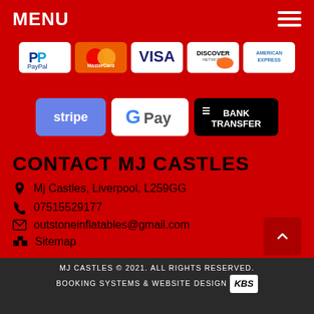MENU
[Figure (logo): Payment method logos: PayPal, MasterCard, Visa, Discover, American Express, Stripe, Google Pay, Bank Transfer]
CONTACT MJ CASTLES
Mj Castles, Liverpool, L259GG
07515529177
outstoneinflatables@gmail.com
Sitemap
MJ CASTLES © 2021. ALL RIGHTS RESERVED. BOOKING SYSTEMS & WEBSITE DESIGN KBS